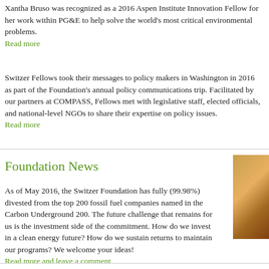Xantha Bruso was recognized as a 2016 Aspen Institute Innovation Fellow for her work within PG&E to help solve the world's most critical environmental problems.
Read more
Switzer Fellows took their messages to policy makers in Washington in 2016 as part of the Foundation's annual policy communications trip. Facilitated by our partners at COMPASS, Fellows met with legislative staff, elected officials, and national-level NGOs to share their expertise on policy issues.
Read more
Foundation News
As of May 2016, the Switzer Foundation has fully (99.98%) divested from the top 200 fossil fuel companies named in the Carbon Underground 200. The future challenge that remains for us is the investment side of the commitment. How do we invest in a clean energy future? How do we sustain returns to maintain our programs? We welcome your ideas!
Read more and leave a comment